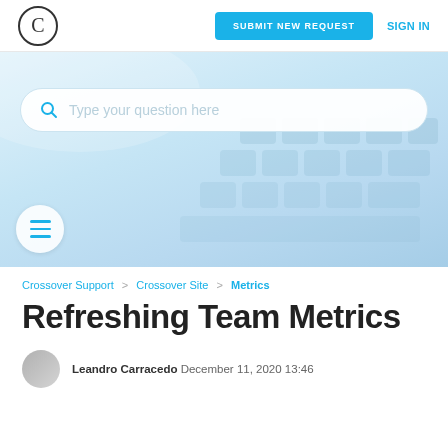C | SUBMIT NEW REQUEST | SIGN IN
[Figure (screenshot): Hero banner with light blue keyboard background image and a search bar with placeholder text 'Type your question here', and a hamburger menu button in a circle.]
Crossover Support > Crossover Site > Metrics
Refreshing Team Metrics
Leandro Carracedo December 11, 2020 13:46